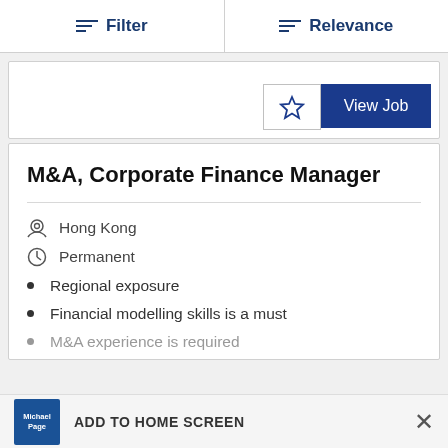Filter | Relevance
[Figure (screenshot): Partial job listing card with star bookmark button and blue View Job button]
M&A, Corporate Finance Manager
Hong Kong
Permanent
Regional exposure
Financial modelling skills is a must
M&A experience is required
ADD TO HOME SCREEN